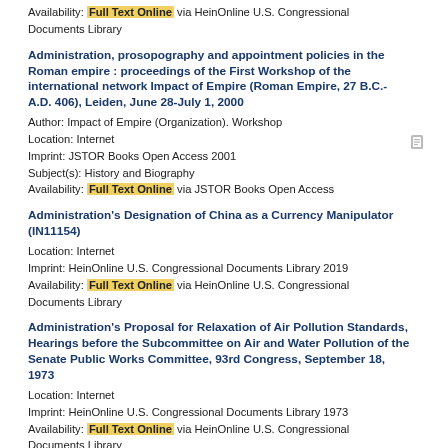Availability: Full Text Online via HeinOnline U.S. Congressional Documents Library
Administration, prosopography and appointment policies in the Roman empire : proceedings of the First Workshop of the international network Impact of Empire (Roman Empire, 27 B.C.-A.D. 406), Leiden, June 28-July 1, 2000
Author: Impact of Empire (Organization). Workshop
Location: Internet
Imprint: JSTOR Books Open Access 2001
Subject(s): History and Biography
Availability: Full Text Online via JSTOR Books Open Access
Administration's Designation of China as a Currency Manipulator (IN11154)
Location: Internet
Imprint: HeinOnline U.S. Congressional Documents Library 2019
Availability: Full Text Online via HeinOnline U.S. Congressional Documents Library
Administration's Proposal for Relaxation of Air Pollution Standards, Hearings before the Subcommittee on Air and Water Pollution of the Senate Public Works Committee, 93rd Congress, September 18, 1973
Location: Internet
Imprint: HeinOnline U.S. Congressional Documents Library 1973
Availability: Full Text Online via HeinOnline U.S. Congressional Documents Library